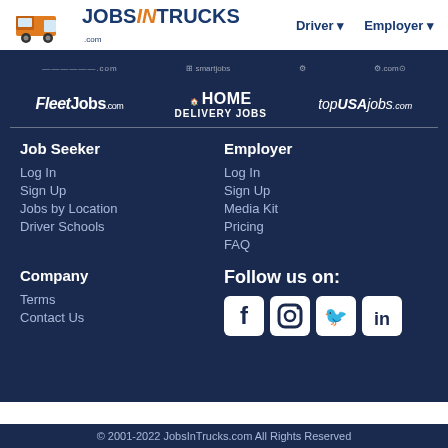JobsInTrucks.com — Driver | Employer
[Figure (logo): Partner logos bar: FleetJobs.com, Home Delivery Jobs, topUSAjobs.com]
Job Seeker
Log In
Sign Up
Jobs by Location
Driver Schools
Employer
Log In
Sign Up
Media Kit
Pricing
FAQ
Company
Terms
Contact Us
Follow us on:
[Figure (illustration): Social media icons: Facebook, Instagram, Twitter, LinkedIn]
© 2001-2022 JobsInTrucks.com All Rights Reserved